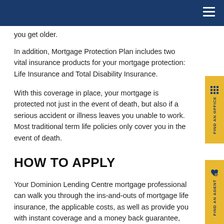you get older.
In addition, Mortgage Protection Plan includes two vital insurance products for your mortgage protection: Life Insurance and Total Disability Insurance.
With this coverage in place, your mortgage is protected not just in the event of death, but also if a serious accident or illness leaves you unable to work. Most traditional term life policies only cover you in the event of death.
HOW TO APPLY
Your Dominion Lending Centre mortgage professional can walk you through the ins-and-outs of mortgage life insurance, the applicable costs, as well as provide you with instant coverage and a money back guarantee, just in case you choose alternative coverage and cancel your policy within 60 days.